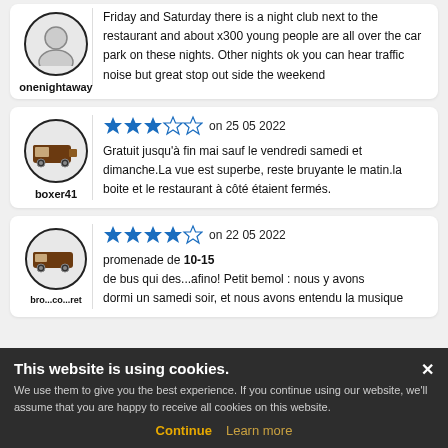onenightaway
Friday and Saturday there is a night club next to the restaurant and about x300 young people are all over the car park on these nights. Other nights ok you can hear traffic noise but great stop out side the weekend
boxer41
on 25 05 2022
Gratuit jusqu'à fin mai sauf le vendredi samedi et dimanche.La vue est superbe, reste bruyante le matin.la boite et le restaurant à côté étaient fermés.
on 22 05 2022
promenade de 10-15 min, ...de bus qui des...afino! Petit bemol : nous y avons dormi un samedi soir, et nous avons entendu la musique
This website is using cookies.
We use them to give you the best experience. If you continue using our website, we'll assume that you are happy to receive all cookies on this website.
Continue
Learn more